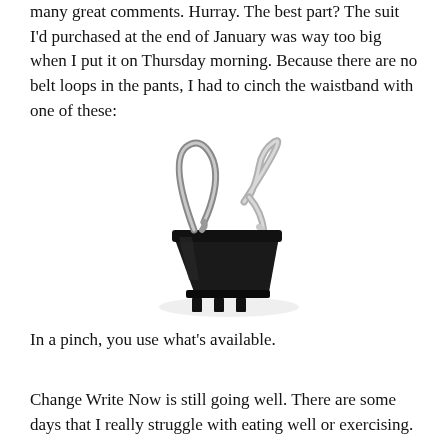many great comments. Hurray. The best part? The suit I'd purchased at the end of January was way too big when I put it on Thursday morning. Because there are no belt loops in the pants, I had to cinch the waistband with one of these:
[Figure (photo): A large black binder clip photographed on a white background, with silver wire handles visible.]
In a pinch, you use what's available.
Change Write Now is still going well. There are some days that I really struggle with eating well or exercising.